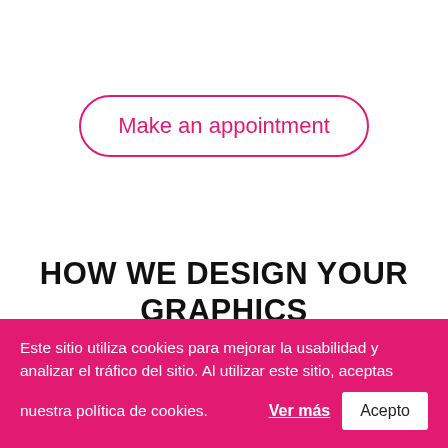[Figure (other): Button with pink rounded border reading 'Make an appointment']
HOW WE DESIGN YOUR GRAPHICS
GRAPHIC DESIGN DEVELOPMENT
Este sitio utiliza cookies para mejorar la usabilidad y analizar el tráfico del sitio. Al utilizar este sitio, aceptas nuestra política de cookies. Ver más Acepto